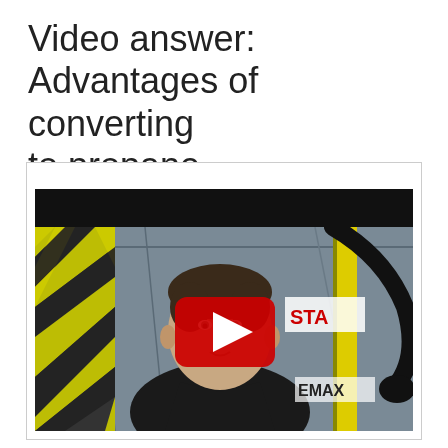Video answer: Advantages of converting to propane...
[Figure (photo): Video thumbnail showing a man in a black shirt speaking, with yellow and black striped safety barriers and industrial equipment visible in the background. A large red YouTube play button icon is overlaid on the center of the image. The top portion of the video frame has a black letterbox bar.]